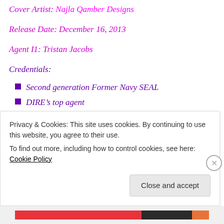Cover Artist: Najla Qamber Designs
Release Date: December 16, 2013
Agent I1: Tristan Jacobs
Credentials:
Second generation Former Navy SEAL
DIRE's top agent
Enhancements:
Privacy & Cookies: This site uses cookies. By continuing to use this website, you agree to their use. To find out more, including how to control cookies, see here: Cookie Policy